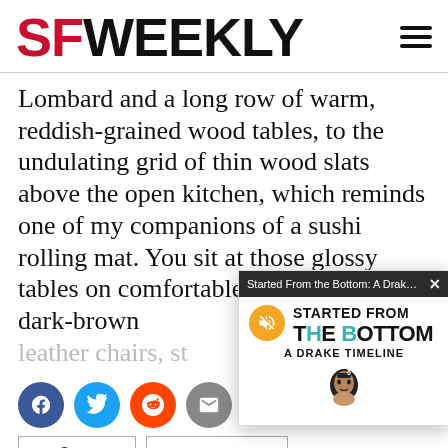SF WEEKLY
Lombard and a long row of warm, reddish-grained wood tables, to the undulating grid of thin wood slats above the open kitchen, which reminds one of my companions of a sushi rolling mat. You sit at those glossy tables on comfortable high-backed dark-brown leather chairs, st...
[Figure (screenshot): Video popup overlay for 'Started From the Bottom: A Drake Timeline' with mute button, title text, and Drake illustration]
[Figure (other): Social sharing buttons: Facebook, Twitter, Reddit, Email]
Copy  https://w...